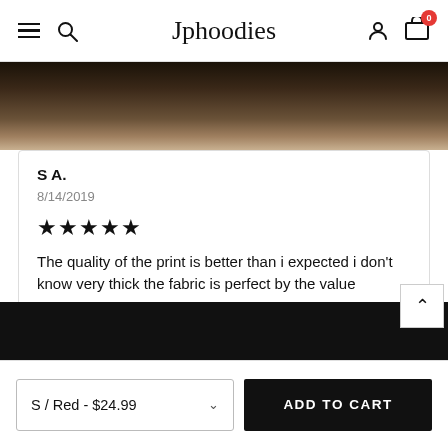Jphoodies — navigation header with hamburger, search, logo, account, and cart (badge: 0)
[Figure (photo): Partial product image, dark background showing top of hoodie/apparel]
S A.
8/14/2019
★★★★★
The quality of the print is better than i expected i don't know very thick the fabric is perfect by the value
S / Red - $24.99  ADD TO CART